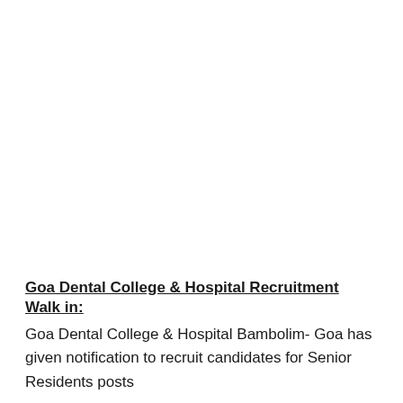Goa Dental College & Hospital Recruitment Walk in:
Goa Dental College & Hospital Bambolim- Goa has given notification to recruit candidates for Senior Residents posts